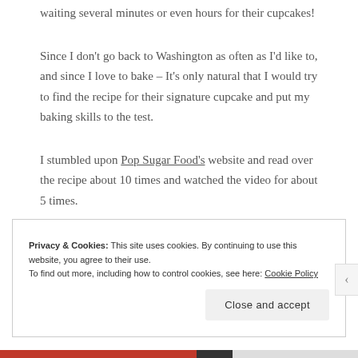waiting several minutes or even hours for their cupcakes!
Since I don't go back to Washington as often as I'd like to, and since I love to bake – It's only natural that I would try to find the recipe for their signature cupcake and put my baking skills to the test.
I stumbled upon Pop Sugar Food's website and read over the recipe about 10 times and watched the video for about 5 times.
Privacy & Cookies: This site uses cookies. By continuing to use this website, you agree to their use.
To find out more, including how to control cookies, see here: Cookie Policy
Close and accept